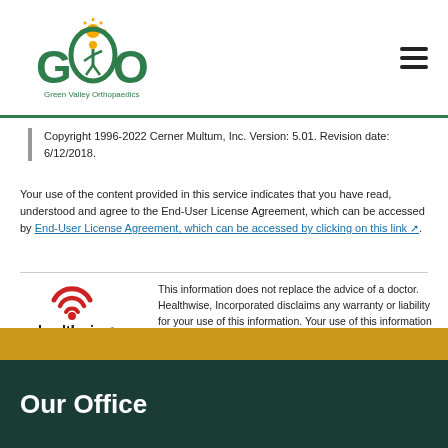GVO Green Valley Orthopaedics
Copyright 1996-2022 Cerner Multum, Inc. Version: 5.01. Revision date: 6/12/2018.
Your use of the content provided in this service indicates that you have read, understood and agree to the End-User License Agreement, which can be accessed by End-User License Agreement, which can be accessed by clicking on this link.
[Figure (logo): Healthwise logo - red spiral with healthwise text and tagline 'for every health decision']
This information does not replace the advice of a doctor. Healthwise, Incorporated disclaims any warranty or liability for your use of this information. Your use of this information means that you agree to the Terms of Use and Privacy Policy. Learn how we develop our content.
Healthwise, Healthwise for every health decision, and the Healthwise logo are trademarks of Healthwise, Incorporated.
Our Office